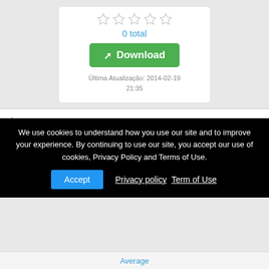[Figure (other): Five empty star rating icons in a row]
0 total
Download
Última Atualização: 2014-02-19 21:35
MythTV
MythTV is a project aiming to create a homebrew set-top box. The end goal is to have a nice interface for watching TV, recording shows, listening to music, etc., all displayed on a TV and controlled by a remote.
We use cookies to understand how you use our site and to improve your experience. By continuing to use our site, you accept our use of cookies, Privacy Policy and Terms of Use.
Accept   Privacy policy  Term of Use
Average